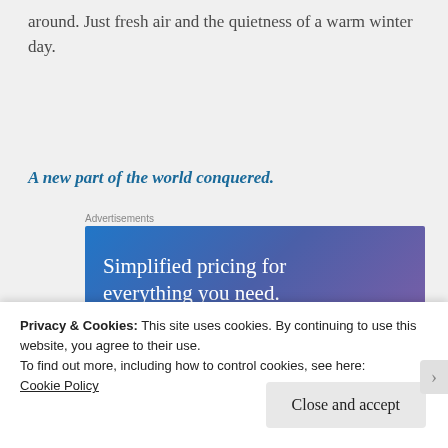around. Just fresh air and the quietness of a warm winter day.
A new part of the world conquered.
Advertisements
[Figure (other): Advertisement banner with blue-purple gradient background and white text reading 'Simplified pricing for everything you need.']
Privacy & Cookies: This site uses cookies. By continuing to use this website, you agree to their use.
To find out more, including how to control cookies, see here: Cookie Policy
Close and accept